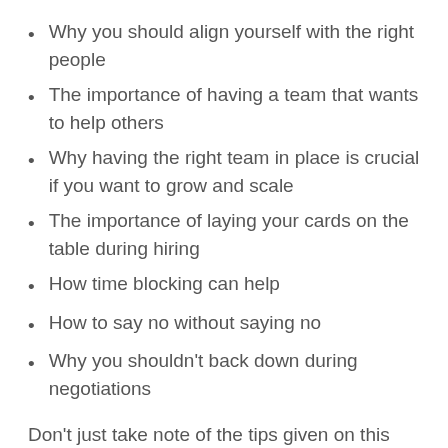Why you should align yourself with the right people
The importance of having a team that wants to help others
Why having the right team in place is crucial if you want to grow and scale
The importance of laying your cards on the table during hiring
How time blocking can help
How to say no without saying no
Why you shouldn't back down during negotiations
Don't just take note of the tips given on this episode. Incorporate and implement them and just like Brent, you just might leave your 9 to 5 job and do wholesaling full-time!